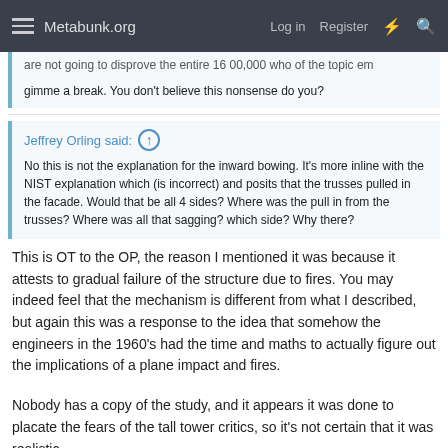Metabunk.org  Log in  Register
are not going to disprove the entire 16 00,000 who of the topic em
gimme a break. You don't believe this nonsense do you?
Jeffrey Orling said:
No this is not the explanation for the inward bowing. It's more inline with the NIST explanation which (is incorrect) and posits that the trusses pulled in the facade. Would that be all 4 sides? Where was the pull in from the trusses? Where was all that sagging? which side? Why there?
This is OT to the OP, the reason I mentioned it was because it attests to gradual failure of the structure due to fires. You may indeed feel that the mechanism is different from what I described, but again this was a response to the idea that somehow the engineers in the 1960's had the time and maths to actually figure out the implications of a plane impact and fires.
Nobody has a copy of the study, and it appears it was done to placate the fears of the tall tower critics, so it's not certain that it was realistic.